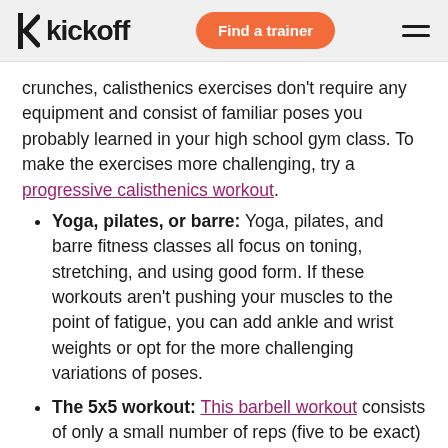kickoff | Find a trainer
crunches, calisthenics exercises don't require any equipment and consist of familiar poses you probably learned in your high school gym class. To make the exercises more challenging, try a progressive calisthenics workout.
Yoga, pilates, or barre: Yoga, pilates, and barre fitness classes all focus on toning, stretching, and using good form. If these workouts aren't pushing your muscles to the point of fatigue, you can add ankle and wrist weights or opt for the more challenging variations of poses.
The 5x5 workout: This barbell workout consists of only a small number of reps (five to be exact)